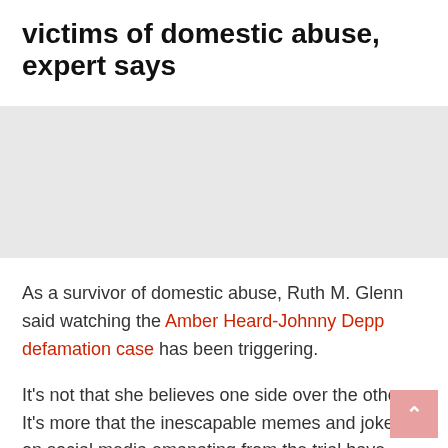victims of domestic abuse, expert says
As a survivor of domestic abuse, Ruth M. Glenn said watching the Amber Heard-Johnny Depp defamation case has been triggering.
It's not that she believes one side over the other. It's more that the inescapable memes and jokes on social media emanating from the trial have exacerbated the trauma of surviving abuse to another level.
Depp and Heard have been in a weeks-long battle in a Fairfax County, Virginia court...